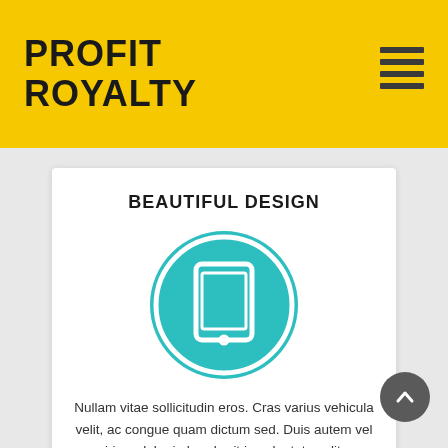PROFIT ROYALTY
BEAUTIFUL DESIGN
[Figure (illustration): Teal circle with a white tablet/iPad icon inside, with an outer white ring border on a teal background]
Nullam vitae sollicitudin eros. Cras varius vehicula velit, ac congue quam dictum sed. Duis autem vel eum iriure dolor in hendrerit in vulputate velit esse molestie consequat.